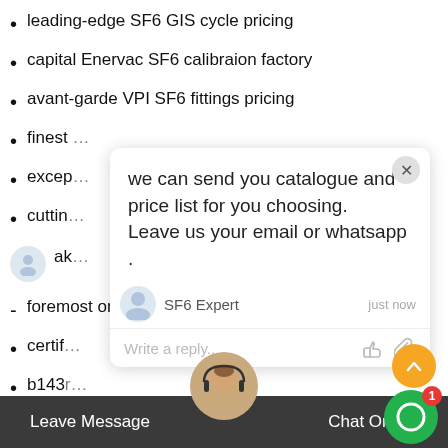leading-edge SF6 GIS cycle pricing
capital Enervac SF6 calibraion factory
avant-garde VPI SF6 fittings pricing
finest [truncated by overlay]
excep[tional - truncated by overlay]
cuttin[g-edge - truncated by overlay]
ak[- truncated]
foremost on-site SF6 dispose prices
certif[ied - truncated by overlay]
b143[r - truncated by overlay]
skillful SF6 analyzing tools for sale
sterling fill SF6 collection facto[ry - truncated]
skillful SF6 density procedu[re - truncated]
b143r11 Lieferant von SF6 company factory
[Figure (screenshot): Chat overlay popup with message 'we can send you catalogue and price list for you choosing. Leave us your email or whatsapp .' from SF6 Expert, just now, with a reply input area, thumbs up and paperclip icons.]
[Figure (other): Green circular chat widget button with badge showing '1']
[Figure (other): Orange scroll-to-top button with upward chevron]
[Figure (other): Support agent avatar (woman with headset)]
Leave Message    Chat Online